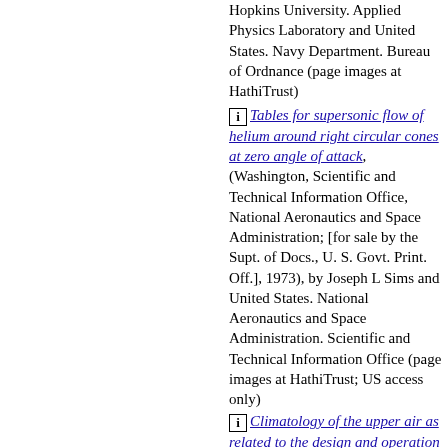Hopkins University. Applied Physics Laboratory and United States. Navy Department. Bureau of Ordnance (page images at HathiTrust)
[i] Tables for supersonic flow of helium around right circular cones at zero angle of attack, (Washington, Scientific and Technical Information Office, National Aeronautics and Space Administration; [for sale by the Supt. of Docs., U. S. Govt. Print. Off.], 1973), by Joseph L Sims and United States. National Aeronautics and Space Administration. Scientific and Technical Information Office (page images at HathiTrust; US access only)
[i] Climatology of the upper air as related to the design and operation of supersonic aircraft (Washington, U.S.